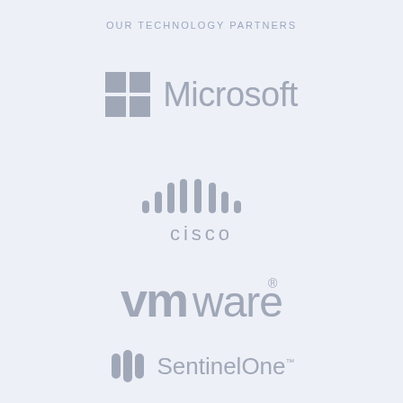OUR TECHNOLOGY PARTNERS
[Figure (logo): Microsoft logo — four squares (2x2 grid) in grey followed by the word Microsoft in grey]
[Figure (logo): Cisco logo — signal bars icon above the word CISCO in grey]
[Figure (logo): VMware logo — vm written in bold lowercase grey followed by ware with registered trademark symbol]
[Figure (logo): SentinelOne logo — three vertical bars icon followed by SentinelOne wordmark in grey]